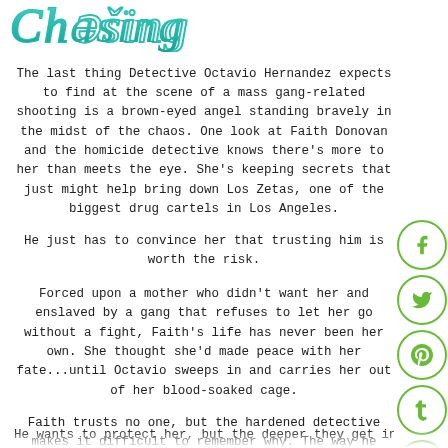[Figure (illustration): Decorative cursive/script title text in teal/green color at the top of the page]
The last thing Detective Octavio Hernandez expects to find at the scene of a mass gang-related shooting is a brown-eyed angel standing bravely in the midst of the chaos. One look at Faith Donovan and the homicide detective knows there's more to her than meets the eye. She's keeping secrets that just might help bring down Los Zetas, one of the biggest drug cartels in Los Angeles.
He just has to convince her that trusting him is worth the risk.
Forced upon a mother who didn't want her and enslaved by a gang that refuses to let her go without a fight, Faith's life has never been her own. She thought she'd made peace with her fate...until Octavio sweeps in and carries her out of her blood-soaked cage.
Faith trusts no one, but the hardened detective makes it difficult to remember why. The way he cares for her makes her ache for what she never thought she'd find: love and a family of her own. But trusting him when she knows he has an ulterior motive is one of the most difficult things she'll ever do.
[Figure (illustration): Social media icons (Facebook, Twitter, Pinterest, Tumblr, StumbleUpon) in green circles on the right side]
...cut off text at bottom...